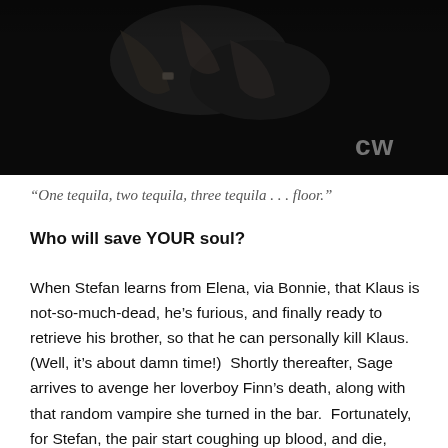[Figure (screenshot): Dark screenshot from a TV show (The Vampire Diaries / CW) showing two figures in a dark room, with a CW network logo visible in the lower right corner.]
“One tequila, two tequila, three tequila . . . floor.”
Who will save YOUR soul?
When Stefan learns from Elena, via Bonnie, that Klaus is not-so-much-dead, he’s furious, and finally ready to retrieve his brother, so that he can personally kill Klaus. (Well, it’s about damn time!)  Shortly thereafter, Sage arrives to avenge her loverboy Finn’s death, along with that random vampire she turned in the bar.  Fortunately, for Stefan, the pair start coughing up blood, and die,